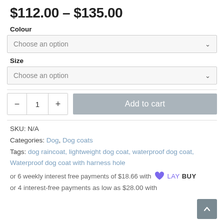$112.00 – $135.00
Colour
Choose an option
Size
Choose an option
- 1 + Add to cart
SKU: N/A
Categories: Dog, Dog coats
Tags: dog raincoat, lightweight dog coat, waterproof dog coat, Waterproof dog coat with harness hole
or 6 weekly interest free payments of $18.66 with LAY BUY
or 4 interest-free payments as low as $28.00 with